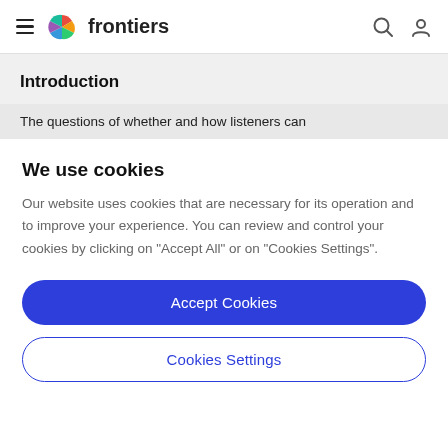frontiers
Introduction
The questions of whether and how listeners can
We use cookies
Our website uses cookies that are necessary for its operation and to improve your experience. You can review and control your cookies by clicking on "Accept All" or on "Cookies Settings".
Accept Cookies
Cookies Settings